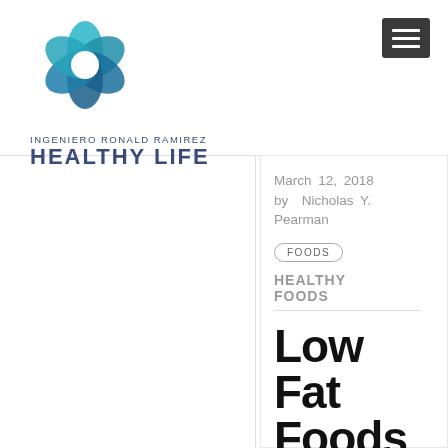[Figure (logo): Teal flower/petal logo mark for Ingeniero Ronald Ramirez Healthy Life]
INGENIERO RONALD RAMIREZ
HEALTHY LIFE
March 12, 2018
by Nicholas Y. Pearman
FOODS
HEALTHY FOODS
Low Fat Foods